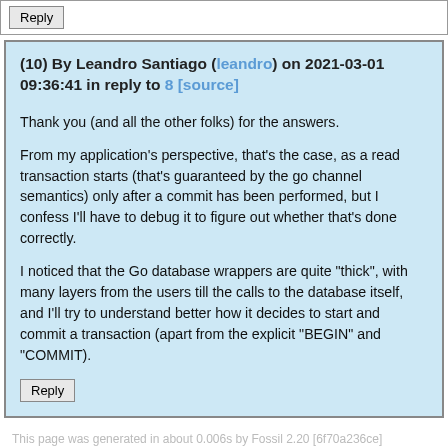Reply
(10) By Leandro Santiago (leandro) on 2021-03-01 09:36:41 in reply to 8 [source]
Thank you (and all the other folks) for the answers.
From my application's perspective, that's the case, as a read transaction starts (that's guaranteed by the go channel semantics) only after a commit has been performed, but I confess I'll have to debug it to figure out whether that's done correctly.
I noticed that the Go database wrappers are quite "thick", with many layers from the users till the calls to the database itself, and I'll try to understand better how it decides to start and commit a transaction (apart from the explicit "BEGIN" and "COMMIT).
Reply
This page was generated in about 0.006s by Fossil 2.20 [6f70a236ce] 2022-08-18 13:21:34